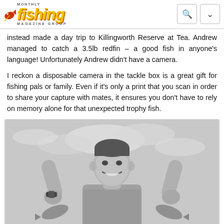Fishing Monthly Magazine Group
instead made a day trip to Killingworth Reserve at Tea. Andrew managed to catch a 3.5lb redfin – a good fish in anyone's language! Unfortunately Andrew didn't have a camera.
I reckon a disposable camera in the tackle box is a great gift for fishing pals or family. Even if it's only a print that you scan in order to share your capture with mates, it ensures you don't have to rely on memory alone for that unexpected trophy fish.
[Figure (photo): Black and white photo of a smiling young man holding up two redfin fish with both hands raised, wearing a watch on his left wrist, with a cloudy sky in the background.]